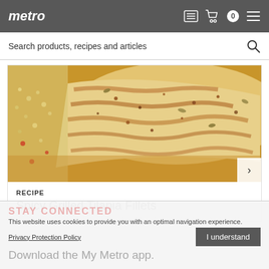metro
Search products, recipes and articles
[Figure (photo): Close-up photo of spicy grilled tilapia fillets with seasoning, garnished with pumpkin seeds, served with couscous and vegetables]
RECIPE
Spicy Grilled Tilapia Fillets
STAY CONNECTED
This website uses cookies to provide you with an optimal navigation experience.
Privacy Protection Policy
I understand
Download the My Metro app.